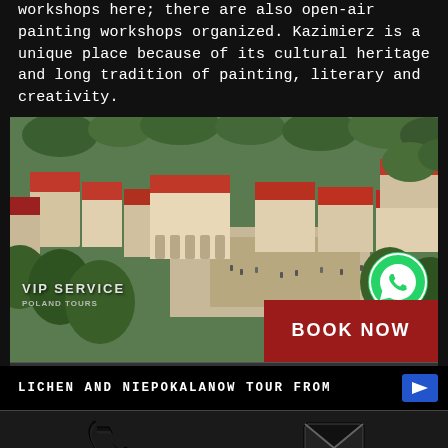workshops here; there are also open-air painting workshops organized. Kazimierz is a unique place because of its cultural heritage and long tradition of painting, literary and creativity.
[Figure (photo): Aerial/elevated view of Kazimierz Dolny, Poland, showing historic town center with orange-red tiled roofs, market square, and surrounding green trees. VIP SERVICE watermark in lower left, WhatsApp icon in lower right.]
BOOK NOW
LICHEN AND NIEPOKALANOW TOUR FROM
[Figure (other): Phone/call icon (black handset)]
[Figure (other): Email/envelope icon (black envelope)]